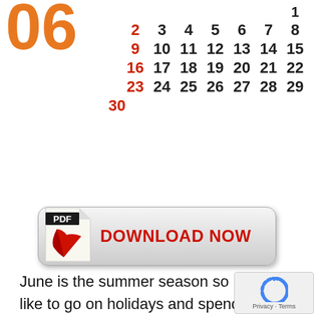[Figure (other): June 2019 calendar grid showing month number '06' in large orange digits, with dates arranged in rows. Sundays (2, 9, 16, 23, 30) shown in red. Day 1 appears on Saturday column.]
[Figure (other): PDF Download Now button with a red/white PDF icon on the left and bold red text 'DOWNLOAD NOW' on a gray gradient rounded rectangle button.]
June is the summer season so people like to go on holidays and spend time with their family members. There are also many public holidays in the month of June in the US. S of the prominent holidays falling in June Father's Day (16th June 2019), Emancipation